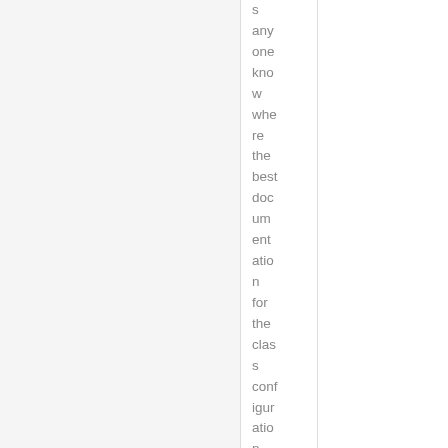s anyone know where the best documentation for the class configuration files would be? We have bee